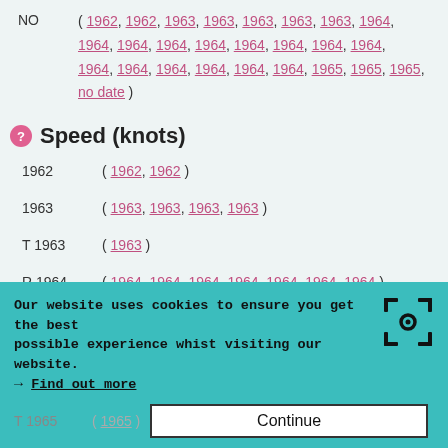NO ( 1962, 1962, 1963, 1963, 1963, 1963, 1963, 1964, 1964, 1964, 1964, 1964, 1964, 1964, 1964, 1964, 1964, 1964, 1964, 1964, 1964, 1964, 1964, 1964, 1965, 1965, 1965, no date )
Speed (knots)
1962   ( 1962, 1962 )
1963   ( 1963, 1963, 1963, 1963 )
T 1963   ( 1963 )
R 1964   ( 1964, 1964, 1964, 1964, 1964, 1964, 1964 )
Our website uses cookies to ensure you get the best possible experience whist visiting our website. → Find out more
T 1965   ( 1965 )   Continue